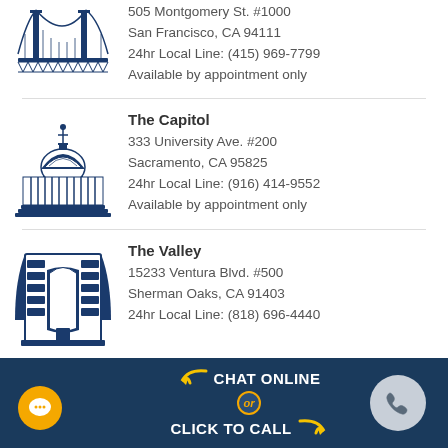[Figure (illustration): Blue line art illustration of the Golden Gate Bridge (partially visible, cropped at top)]
505 Montgomery St. #1000
San Francisco, CA 94111
24hr Local Line: (415) 969-7799
Available by appointment only
[Figure (illustration): Blue line art illustration of the US Capitol building dome]
The Capitol
333 University Ave. #200
Sacramento, CA 95825
24hr Local Line: (916) 414-9552
Available by appointment only
[Figure (illustration): Blue line art illustration of a modern office building]
The Valley
15233 Ventura Blvd. #500
Sherman Oaks, CA 91403
24hr Local Line: (818) 696-4440
[Figure (infographic): Dark blue footer bar with Chat Online or Click to Call call-to-action, yellow arrows, orange chat bubble circle on left, gray phone circle on right]